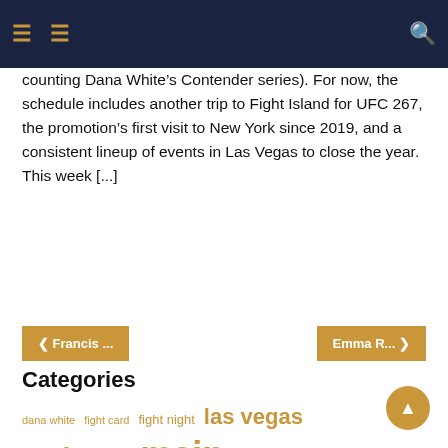navigation header with icons
counting Dana White’s Contender series). For now, the schedule includes another trip to Fight Island for UFC 267, the promotion’s first visit to New York since 2019, and a consistent lineup of events in Las Vegas to close the year. This week [...]
❮ Francis ...
Emma R... ❯
Categories
dana white  fight card  fight night  las vegas  main card  main event  martial arts  mixed martial  mma fighting  pay view  ufc fight  ufc vegas  unanimous decision  united states